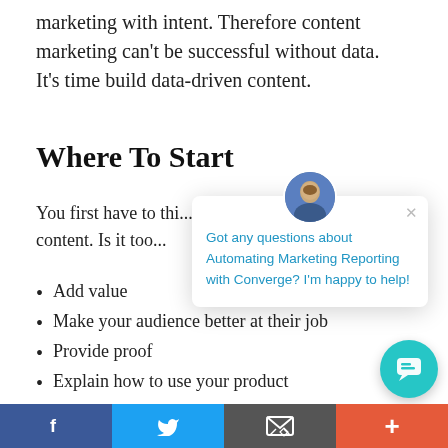marketing with intent. Therefore content marketing can't be successful without data. It's time build data-driven content.
Where To Start
You first have to thi... content. Is it too...
Add value
Make your audience better at their job
Provide proof
Explain how to use your product
[Figure (screenshot): Chat widget overlay with avatar photo of a man, close button (×), and text: Got any questions about Automating Marketing Reporting with Converge? I'm happy to help!]
[Figure (other): Teal circular chat button with speech bubble icon]
Social share bar with Facebook, Twitter, Email, and More (+) buttons